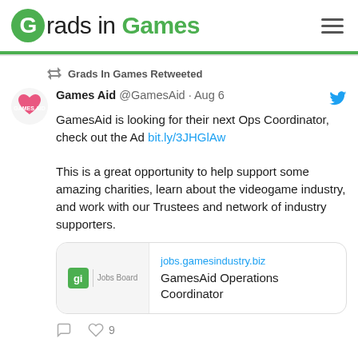Grads in Games
Grads In Games Retweeted
Games Aid @GamesAid · Aug 6
GamesAid is looking for their next Ops Coordinator, check out the Ad bit.ly/3JHGlAw

This is a great opportunity to help support some amazing charities, learn about the videogame industry, and work with our Trustees and network of industry supporters.
[Figure (screenshot): GamesIndustry.biz Jobs Board link preview card showing GamesAid Operations Coordinator listing]
♡ 9